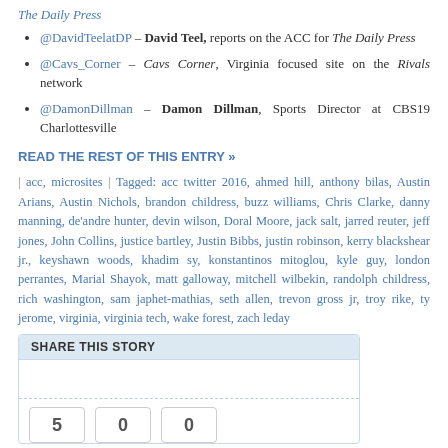The Daily Press
@DavidTeelatDP – David Teel, reports on the ACC for The Daily Press
@Cavs_Corner – Cavs Corner, Virginia focused site on the Rivals network
@DamonDillman – Damon Dillman, Sports Director at CBS19 Charlottesville
READ THE REST OF THIS ENTRY »
| acc, microsites | Tagged: acc twitter 2016, ahmed hill, anthony bilas, Austin Arians, Austin Nichols, brandon childress, buzz williams, Chris Clarke, danny manning, de'andre hunter, devin wilson, Doral Moore, jack salt, jarred reuter, jeff jones, John Collins, justice bartley, Justin Bibbs, justin robinson, kerry blackshear jr., keyshawn woods, khadim sy, konstantinos mitoglou, kyle guy, london perrantes, Marial Shayok, matt galloway, mitchell wilbekin, randolph childress, rich washington, sam japhet-mathias, seth allen, trevon gross jr, troy rike, ty jerome, virginia, virginia tech, wake forest, zach leday
SHARE THIS STORY